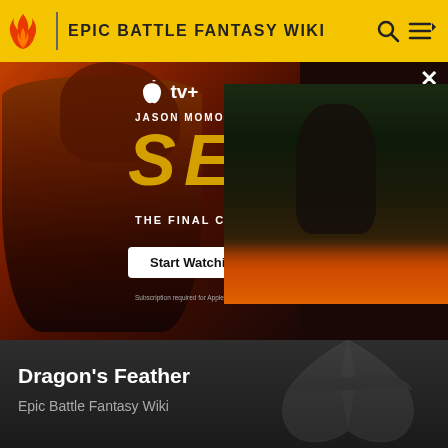EPIC BATTLE FANTASY WIKI
[Figure (photo): Apple TV+ advertisement for 'SEE - The Final Chapter' featuring Jason Momoa, with a 'Start Watching' button. Shows two images of Jason Momoa - one as a warrior on the left and one in a dark setting on the right.]
Dragon's Feather
Epic Battle Fantasy Wiki
[Figure (screenshot): Game screenshot showing RPG stats panel for Lance - level 28, with HP, MP, Attack, Defence, Magic Att, Magic Def, Accuracy stats and multipliers. Also shows Army Jacket lv5 item with resistances. Player selection showing Matt and Natalie.]